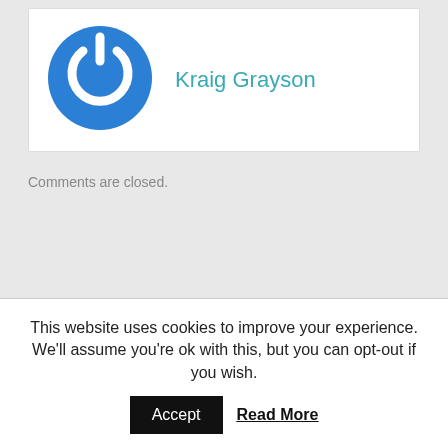[Figure (logo): Blue circular power button icon with white symbol]
Kraig Grayson
Comments are closed.
This website uses cookies to improve your experience. We'll assume you're ok with this, but you can opt-out if you wish.
Accept
Read More